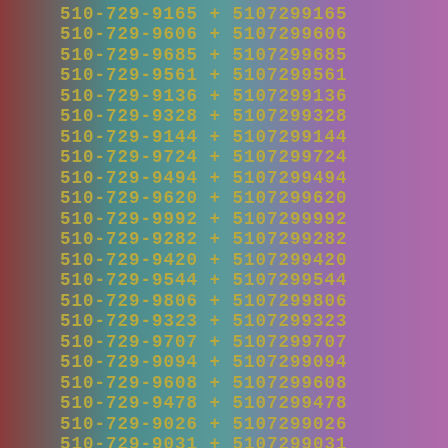510-729-9165 + 5107299165
510-729-9606 + 5107299606
510-729-9685 + 5107299685
510-729-9561 + 5107299561
510-729-9136 + 5107299136
510-729-9328 + 5107299328
510-729-9144 + 5107299144
510-729-9724 + 5107299724
510-729-9494 + 5107299494
510-729-9620 + 5107299620
510-729-9992 + 5107299992
510-729-9282 + 5107299282
510-729-9420 + 5107299420
510-729-9544 + 5107299544
510-729-9806 + 5107299806
510-729-9323 + 5107299323
510-729-9707 + 5107299707
510-729-9094 + 5107299094
510-729-9608 + 5107299608
510-729-9478 + 5107299478
510-729-9026 + 5107299026
510-729-9031 + 5107299031